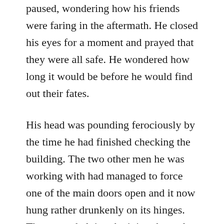paused, wondering how his friends were faring in the aftermath. He closed his eyes for a moment and prayed that they were all safe. He wondered how long it would be before he would find out their fates.
His head was pounding ferociously by the time he had finished checking the building. The two other men he was working with had managed to force one of the main doors open and it now hung rather drunkenly on its hinges. They were helping the injured people outside. Marco nodded approval and then wished fervently that he hadn't. He leaned over and vomited into the debris.
That was conclusive, he thought. A concussion. He knew he ought to be resting, not climbing around this crumbled building, but rest wasn't an option right now. He st...